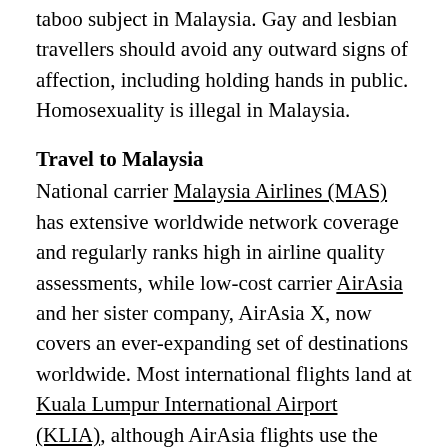taboo subject in Malaysia. Gay and lesbian travellers should avoid any outward signs of affection, including holding hands in public. Homosexuality is illegal in Malaysia.
Travel to Malaysia
National carrier Malaysia Airlines (MAS) has extensive worldwide network coverage and regularly ranks high in airline quality assessments, while low-cost carrier AirAsia and her sister company, AirAsia X, now covers an ever-expanding set of destinations worldwide. Most international flights land at Kuala Lumpur International Airport (KLIA), although AirAsia flights use the LCC terminal, a 20km road transfer away from the main KLIA terminal. Direct sleeper train services operated by the State Railway of Thailand connect Bangkok and Butterworth near Penang, while Malaysian Railways runs trains between Hat Yai in Thailand and Kuala Lumpur. Singapore is the southern terminus of the Malayan Railway network. Comfortable overnight sleeper and somewhat misnamed daytime "express" trains connect Singapore with Kuala Lumpur and Tumpat, near Kota Bharu. Tickets purchased at the Singapore station are twice as expensive as those purchased in